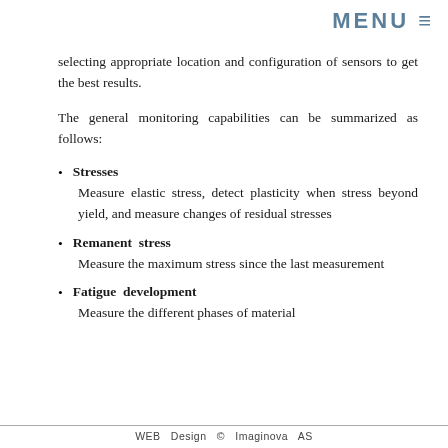MENU ≡
selecting appropriate location and configuration of sensors to get the best results.
The general monitoring capabilities can be summarized as follows:
Stresses
Measure elastic stress, detect plasticity when stress beyond yield, and measure changes of residual stresses
Remanent stress
Measure the maximum stress since the last measurement
Fatigue development
Measure the different phases of material
WEB  Design  ©  Imaginova  AS